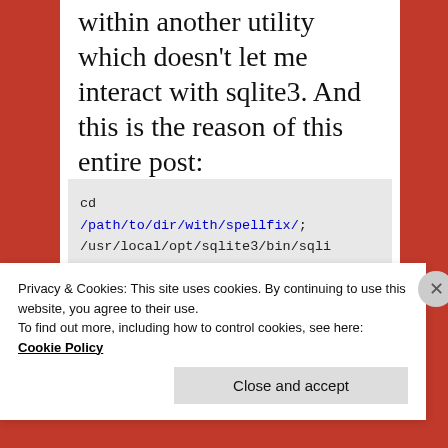within another utility which doesn't let me interact with sqlite3. And this is the reason of this entire post:
cd /path/to/dir/with/spellfix/; /usr/local/opt/sqlite3/bin/sqlite3 /path/to/database.db 'SELECT load_extension("spellfix.dylib"); SELECT title FROM books WHERE editdist3(author, "Jules Verne") < 450'
Privacy & Cookies: This site uses cookies. By continuing to use this website, you agree to their use.
To find out more, including how to control cookies, see here: Cookie Policy
Close and accept